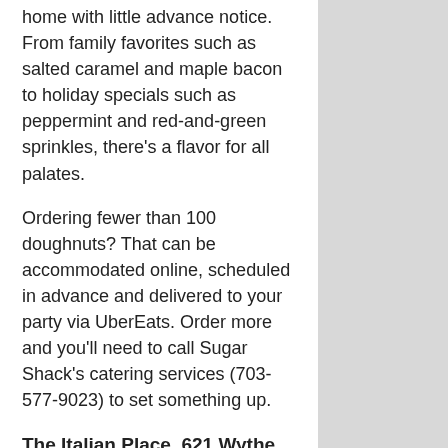home with little advance notice. From family favorites such as salted caramel and maple bacon to holiday specials such as peppermint and red-and-green sprinkles, there's a flavor for all palates.
Ordering fewer than 100 doughnuts? That can be accommodated online, scheduled in advance and delivered to your party via UberEats. Order more and you'll need to call Sugar Shack's catering services (703-577-9023) to set something up.
The Italian Place, 621 Wythe St.
When it comes to entertaining a large group, sandwiches are the name of the game. The Italian Place makes it easy to feed a crowd. With nearly two dozen sandwiches to choose from, plus paninis and salads, all your guests can have a taste of the Italian life. Select individual sandwiches for a smaller group. The